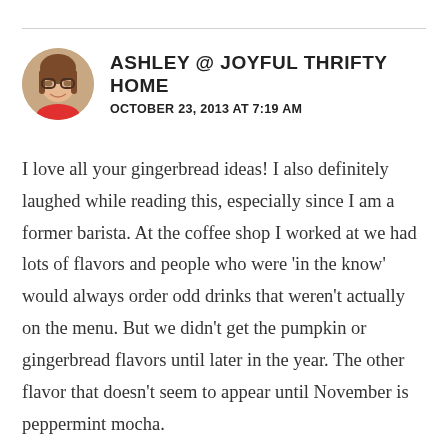[Figure (photo): Circular avatar photo of Ashley, a woman with glasses and brown hair]
ASHLEY @ JOYFUL THRIFTY HOME
OCTOBER 23, 2013 AT 7:19 AM
I love all your gingerbread ideas! I also definitely laughed while reading this, especially since I am a former barista. At the coffee shop I worked at we had lots of flavors and people who were 'in the know' would always order odd drinks that weren't actually on the menu. But we didn't get the pumpkin or gingerbread flavors until later in the year. The other flavor that doesn't seem to appear until November is peppermint mocha.